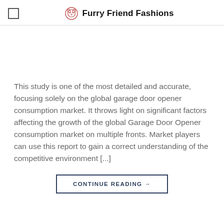Furry Friend Fashions
This study is one of the most detailed and accurate, focusing solely on the global garage door opener consumption market. It throws light on significant factors affecting the growth of the global Garage Door Opener consumption market on multiple fronts. Market players can use this report to gain a correct understanding of the competitive environment [...]
CONTINUE READING →